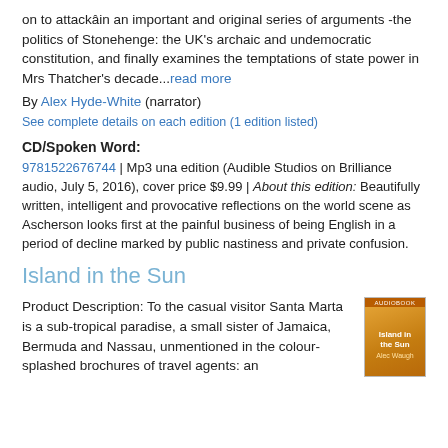on to attackâin an important and original series of arguments -the politics of Stonehenge: the UK's archaic and undemocratic constitution, and finally examines the temptations of state power in Mrs Thatcher's decade...read more
By Alex Hyde-White (narrator)
See complete details on each edition (1 edition listed)
CD/Spoken Word:
9781522676744 | Mp3 una edition (Audible Studios on Brilliance audio, July 5, 2016), cover price $9.99 | About this edition: Beautifully written, intelligent and provocative reflections on the world scene as Ascherson looks first at the painful business of being English in a period of decline marked by public nastiness and private confusion.
Island in the Sun
Product Description: To the casual visitor Santa Marta is a sub-tropical paradise, a small sister of Jamaica, Bermuda and Nassau, unmentioned in the colour-splashed brochures of travel agents: an
[Figure (photo): Book cover of 'Island in the Sun' by Alec Waugh, orange/gold cover with title and author name]